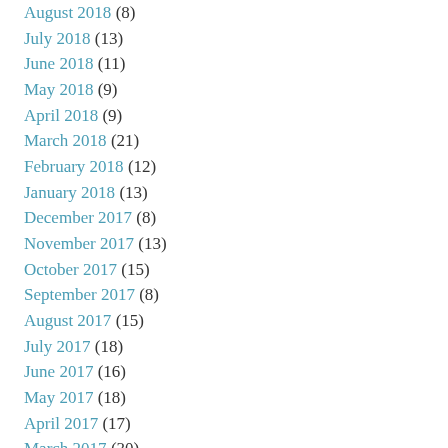August 2018 (8)
July 2018 (13)
June 2018 (11)
May 2018 (9)
April 2018 (9)
March 2018 (21)
February 2018 (12)
January 2018 (13)
December 2017 (8)
November 2017 (13)
October 2017 (15)
September 2017 (8)
August 2017 (15)
July 2017 (18)
June 2017 (16)
May 2017 (18)
April 2017 (17)
March 2017 (30)
February 2017 (17)
January 2017 (20)